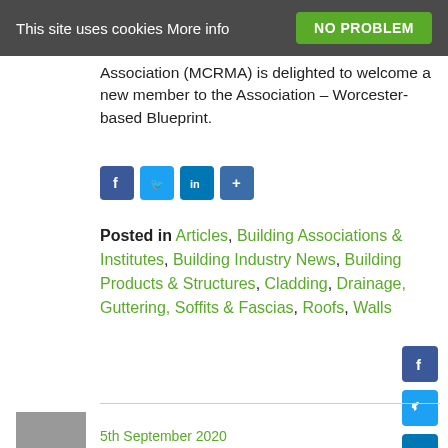This site uses cookies More info | NO PROBLEM
Association (MCRMA) is delighted to welcome a new member to the Association – Worcester-based Blueprint.
[Figure (other): Social share buttons row: Facebook, Twitter, LinkedIn, Share+]
Posted in Articles, Building Associations & Institutes, Building Industry News, Building Products & Structures, Cladding, Drainage, Guttering, Soffits & Fascias, Roofs, Walls
[Figure (other): Vertical social share buttons on right side: Facebook, Twitter, LinkedIn, Share+]
[Figure (photo): Small thumbnail image at bottom left]
5th September 2020